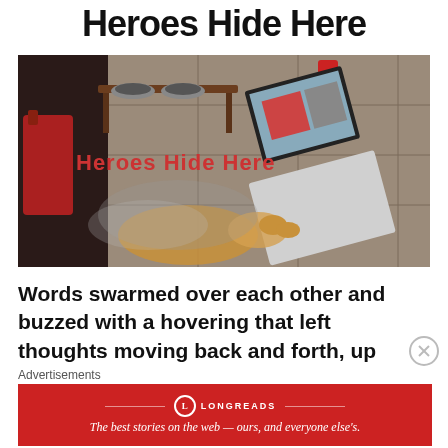Heroes Hide Here
[Figure (photo): Overhead photo of a tiled floor showing a dog lying near a white laptop, with a wooden pet feeding station with bowls in the background, red bags on the left, and the text 'Heroes Hide Here' overlaid in red on the image.]
Words swarmed over each other and buzzed with a hovering that left thoughts moving back and forth, up
Advertisements
[Figure (logo): Longreads advertisement banner in red with text: 'The best stories on the web — ours, and everyone else's.']